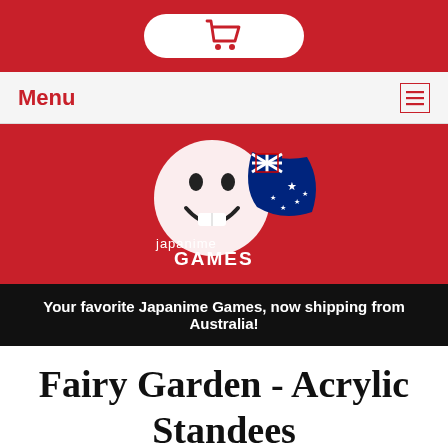[Figure (logo): Shopping cart icon inside a white pill/capsule shape on red background]
Menu
[Figure (logo): Japanime Games logo: laughing face emoji with Australian flag on red background]
Your favorite Japanime Games, now shipping from Australia!
Fairy Garden - Acrylic Standees
Quantity